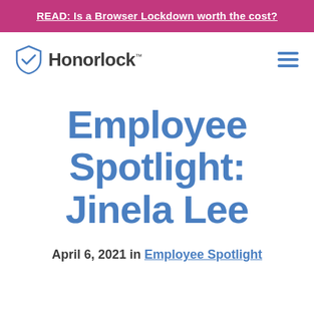READ: Is a Browser Lockdown worth the cost?
[Figure (logo): Honorlock logo with shield checkmark icon and wordmark]
Employee Spotlight: Jinela Lee
April 6, 2021 in Employee Spotlight